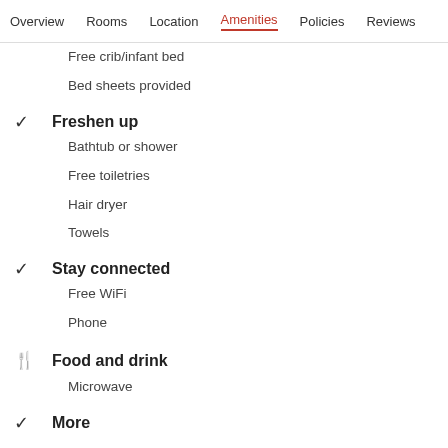Overview  Rooms  Location  Amenities  Policies  Reviews
Free crib/infant bed
Bed sheets provided
Freshen up
Bathtub or shower
Free toiletries
Hair dryer
Towels
Stay connected
Free WiFi
Phone
Food and drink
Microwave
More